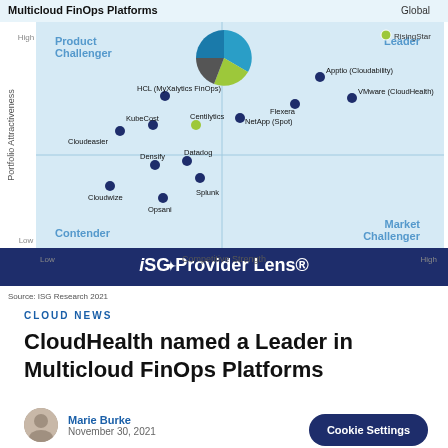[Figure (scatter-plot): ISG Provider Lens scatter plot showing vendors positioned by Portfolio Attractiveness (y-axis) and Competitive Strength (x-axis). Quadrants: Product Challenger (top-left), Leader (top-right), Contender (bottom-left), Market Challenger (bottom-right). RisingStar label in top-right. Vendors: Apptio (Cloudability), VMware (CloudHealth), Flexera, NetApp (Spot), HCL (MyXalytics FinOps), KubeCost, Centilytics, Cloudeasier, Densify, Datadog, Splunk, Cloudwize, Opsani.]
Source: ISG Research 2021
Cloud News
CloudHealth named a Leader in Multicloud FinOps Platforms
Marie Burke
November 30, 2021